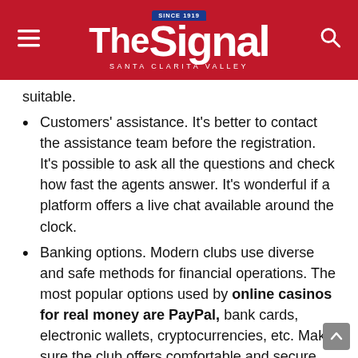The Signal — Santa Clarita Valley
suitable.
Customers' assistance. It's better to contact the assistance team before the registration. It's possible to ask all the questions and check how fast the agents answer. It's wonderful if a platform offers a live chat available around the clock.
Banking options. Modern clubs use diverse and safe methods for financial operations. The most popular options used by online casinos for real money are PayPal, bank cards, electronic wallets, cryptocurrencies, etc. Make sure the club offers comfortable and secure methods.